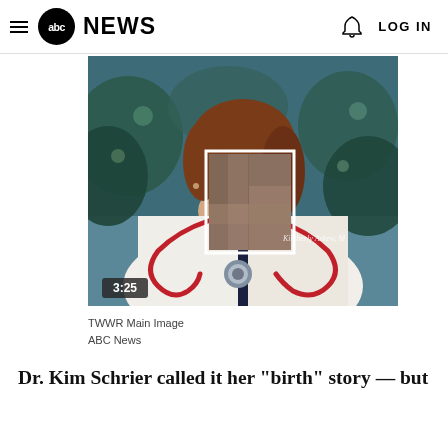abc NEWS   LOG IN
[Figure (photo): Smiling woman doctor in white lab coat with red stethoscope, face obscured by blurred/redacted box. Video thumbnail with timer badge showing 3:25. Name badge reads 'Kimberly Askew, M'. Background shows outdoor setting with green foliage.]
TWWR Main Image
ABC News
Dr. Kim Schrier called it her "birth" story — but